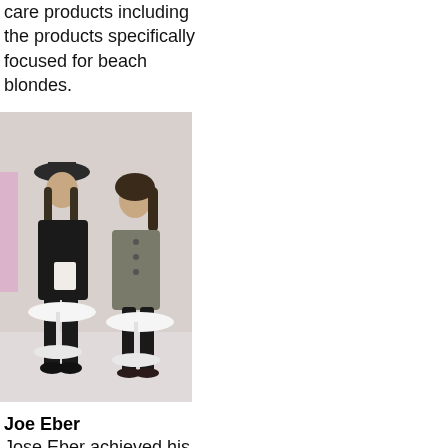care products including the products specifically focused for beach blondes.
[Figure (photo): Two people seated on white chairs in a studio setting. On the left, a man with long hair wearing a black hat and black jacket, holding papers. On the right, a woman in a grey dress with dark tights.]
Joe Eber
Jose Eber achieved his celebrity